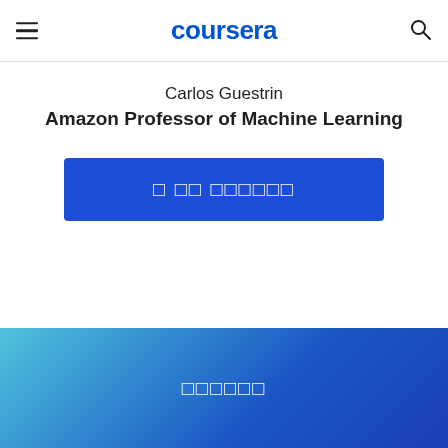coursera
Carlos Guestrin
Amazon Professor of Machine Learning
[Figure (other): Blue enroll button with placeholder/tofu characters representing Asian language text]
[Figure (other): Blue gradient footer banner with placeholder/tofu characters]